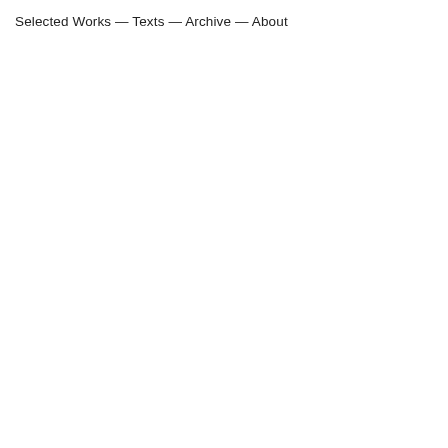Selected Works — Texts — Archive — About